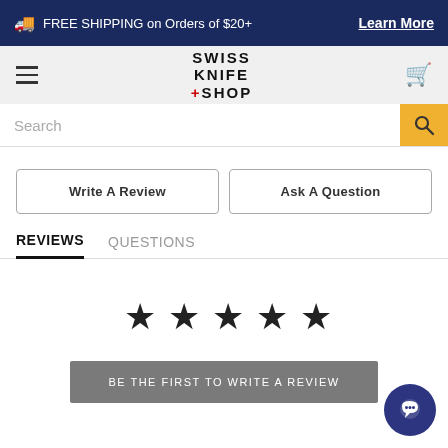FREE SHIPPING on Orders of $20+  Learn More
[Figure (logo): Swiss Knife Shop logo with hamburger menu and cart icon in navigation bar]
Search
Write A Review
Ask A Question
REVIEWS   QUESTIONS
[Figure (infographic): Five empty/outline stars rating display]
BE THE FIRST TO WRITE A REVIEW